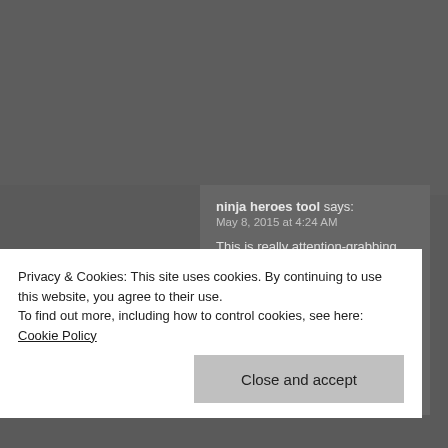ninja heroes tool says:
May 8, 2015 at 4:24 AM
This is really attention-grabbing. You are an overly professional blogger.

I have joined your feed and sit up for looking for more of your excellent post. Also, I have shared your site in my social networks
Privacy & Cookies: This site uses cookies. By continuing to use this website, you agree to their use.
To find out more, including how to control cookies, see here: Cookie Policy
Close and accept